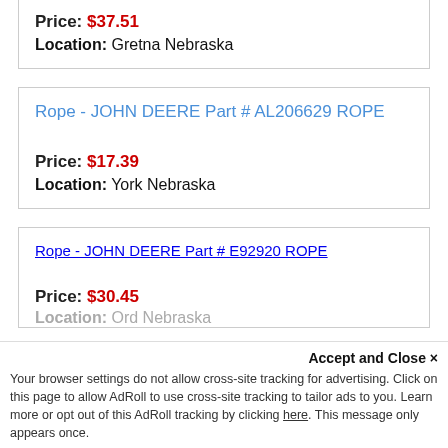Price: $37.51
Location: Gretna Nebraska
Rope - JOHN DEERE Part # AL206629 ROPE
Price: $17.39
Location: York Nebraska
Rope - JOHN DEERE Part # E92920 ROPE
Price: $30.45
Location: Ord Nebraska
Accept and Close ✕
Your browser settings do not allow cross-site tracking for advertising. Click on this page to allow AdRoll to use cross-site tracking to tailor ads to you. Learn more or opt out of this AdRoll tracking by clicking here. This message only appears once.